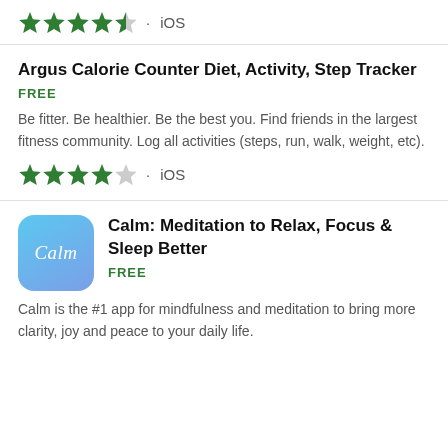[Figure (infographic): 4.5 star rating with iOS platform label]
Argus Calorie Counter Diet, Activity, Step Tracker
FREE
Be fitter. Be healthier. Be the best you. Find friends in the largest fitness community. Log all activities (steps, run, walk, weight, etc).
[Figure (infographic): 4 star rating with iOS platform label]
[Figure (logo): Calm app icon - blue gradient with cursive Calm text]
Calm: Meditation to Relax, Focus & Sleep Better
FREE
Calm is the #1 app for mindfulness and meditation to bring more clarity, joy and peace to your daily life.